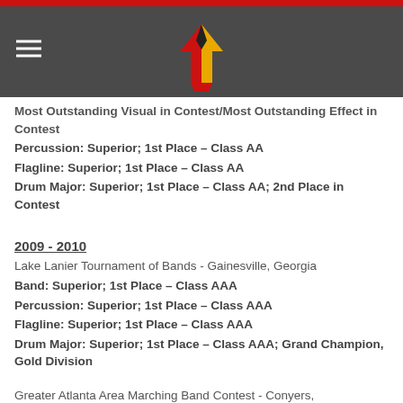[Figure (logo): School/band logo — stylized T shape in red, gold, and black, centered in dark gray header bar with red top stripe and hamburger menu icon on left]
Most Outstanding Visual in Contest/Most Outstanding Effect in Contest
Percussion: Superior; 1st Place – Class AA
Flagline: Superior; 1st Place – Class AA
Drum Major: Superior; 1st Place – Class AA; 2nd Place in Contest
2009 - 2010
Lake Lanier Tournament of Bands - Gainesville, Georgia
Band: Superior; 1st Place – Class AAA
Percussion: Superior; 1st Place – Class AAA
Flagline: Superior; 1st Place – Class AAA
Drum Major: Superior; 1st Place – Class AAA; Grand Champion, Gold Division
Greater Atlanta Area Marching Band Contest - Conyers,